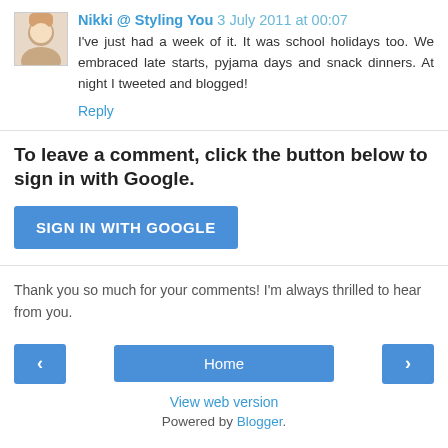Nikki @ Styling You  3 July 2011 at 00:07
I've just had a week of it. It was school holidays too. We embraced late starts, pyjama days and snack dinners. At night I tweeted and blogged!
Reply
To leave a comment, click the button below to sign in with Google.
[Figure (screenshot): SIGN IN WITH GOOGLE button (blue rounded rectangle)]
Thank you so much for your comments! I'm always thrilled to hear from you.
[Figure (screenshot): Navigation bar with left arrow, Home button, and right arrow]
View web version
Powered by Blogger.